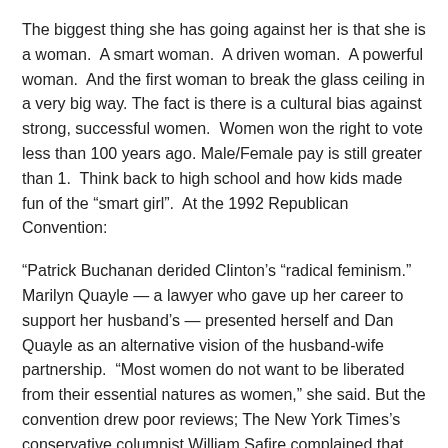The biggest thing she has going against her is that she is a woman.  A smart woman.  A driven woman.  A powerful woman.  And the first woman to break the glass ceiling in a very big way. The fact is there is a cultural bias against strong, successful women.  Women won the right to vote less than 100 years ago. Male/Female pay is still greater than 1.  Think back to high school and how kids made fun of the “smart girl”.  At the 1992 Republican Convention:
"Patrick Buchanan derided Clinton’s “radical feminism.” Marilyn Quayle — a lawyer who gave up her career to support her husband’s — presented herself and Dan Quayle as an alternative vision of the husband-wife partnership.  “Most women do not want to be liberated from their essential natures as women,” she said. But the convention drew poor reviews; The New York Times’s conservative columnist William Safire complained that “the party displayed the basest of its base.” From then on, the Bush campaign team confined its direct attacks to Bill Clinton."